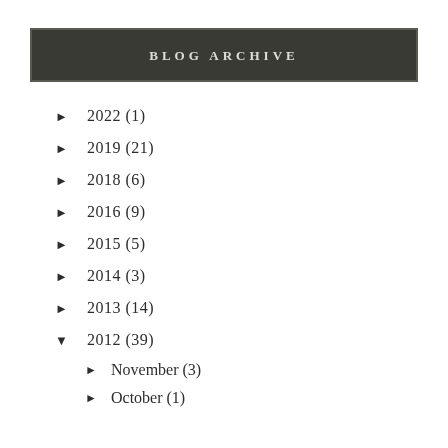BLOG ARCHIVE
► 2022 (1)
► 2019 (21)
► 2018 (6)
► 2016 (9)
► 2015 (5)
► 2014 (3)
► 2013 (14)
▼ 2012 (39)
► November (3)
► October (1)